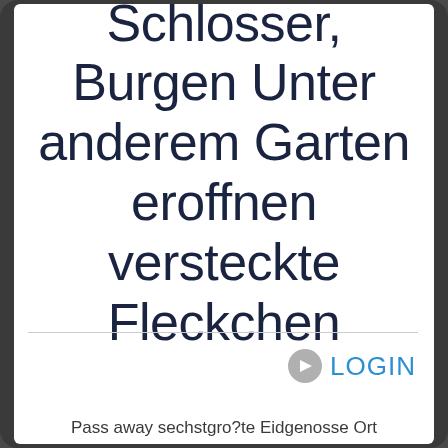Schlosser, Burgen Unter anderem Garten eroffnen versteckte Fleckchen
LOGIN
Pass away sechstgro?te Eidgenosse Ort